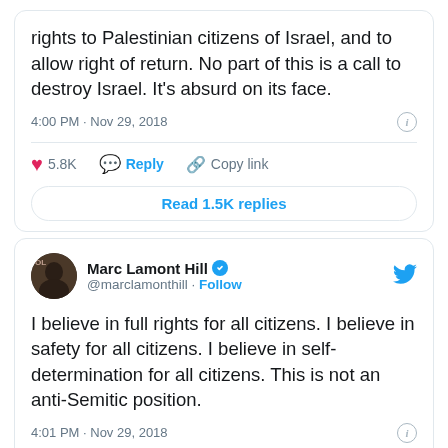rights to Palestinian citizens of Israel, and to allow right of return. No part of this is a call to destroy Israel. It's absurd on its face.
4:00 PM · Nov 29, 2018
5.8K   Reply   Copy link
Read 1.5K replies
Marc Lamont Hill @marclamonthill · Follow
I believe in full rights for all citizens. I believe in safety for all citizens. I believe in self-determination for all citizens. This is not an anti-Semitic position.
4:01 PM · Nov 29, 2018
2.6K   Reply   Copy link